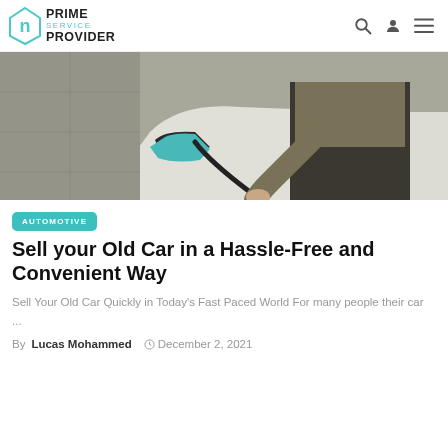PRIME SERVICE PROVIDER
[Figure (photo): A person in work uniform working on the front of a white car, plugging in or adjusting a cable near the headlight area]
AUTOMOTIVE
Sell your Old Car in a Hassle-Free and Convenient Way
Sell Your Old Car Quickly in Today's Fast Paced World For many people their car ...
By Lucas Mohammed  December 2, 2021